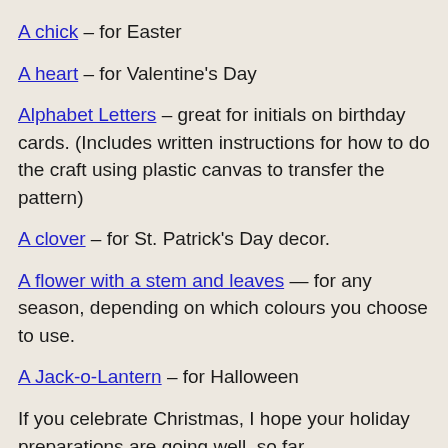A chick – for Easter
A heart – for Valentine's Day
Alphabet Letters – great for initials on birthday cards. (Includes written instructions for how to do the craft using plastic canvas to transfer the pattern)
A clover – for St. Patrick's Day decor.
A flower with a stem and leaves — for any season, depending on which colours you choose to use.
A Jack-o-Lantern – for Halloween
If you celebrate Christmas, I hope your holiday preparations are going well, so far.